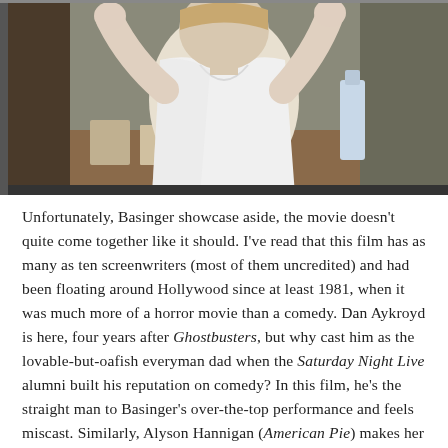[Figure (photo): A person in a white v-neck top with arms raised, photographed indoors]
Unfortunately, Basinger showcase aside, the movie doesn't quite come together like it should. I've read that this film has as many as ten screenwriters (most of them uncredited) and had been floating around Hollywood since at least 1981, when it was much more of a horror movie than a comedy. Dan Aykroyd is here, four years after Ghostbusters, but why cast him as the lovable-but-oafish everyman dad when the Saturday Night Live alumni built his reputation on comedy? In this film, he's the straight man to Basinger's over-the-top performance and feels miscast. Similarly, Alyson Hannigan (American Pie) makes her debut as Aykroyd's 13-year-old daughter who must wrestle with the revelation that this woman wooing her dad eats batteries and has super powers. At times, the